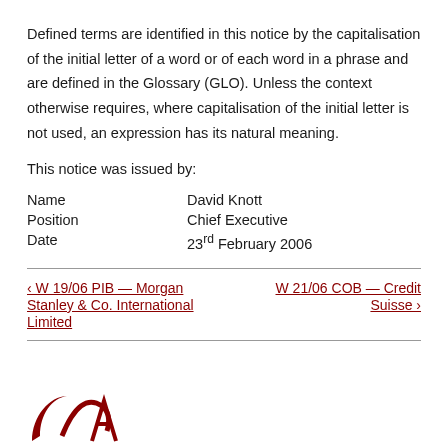Defined terms are identified in this notice by the capitalisation of the initial letter of a word or of each word in a phrase and are defined in the Glossary (GLO). Unless the context otherwise requires, where capitalisation of the initial letter is not used, an expression has its natural meaning.
This notice was issued by:
| Name | David Knott |
| Position | Chief Executive |
| Date | 23rd February 2006 |
‹ W 19/06 PIB — Morgan Stanley & Co. International Limited | W 21/06 COB — Credit Suisse ›
[Figure (logo): FSA logo — partial red curved design visible at bottom left]